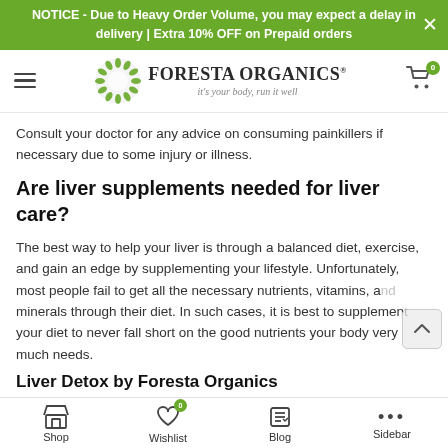NOTICE - Due to Heavy Order Volume, you may expect a delay in delivery | Extra 10% OFF on Prepaid orders
[Figure (logo): Foresta Organics logo with green leaf wreath icon, brand name, and tagline 'it's your body, run it well']
Consult your doctor for any advice on consuming painkillers if necessary due to some injury or illness.
Are liver supplements needed for liver care?
The best way to help your liver is through a balanced diet, exercise, and gain an edge by supplementing your lifestyle. Unfortunately, most people fail to get all the necessary nutrients, vitamins, and minerals through their diet. In such cases, it is best to supplement your diet to never fall short on the good nutrients your body very much needs.
Liver Detox by Foresta Organics
Shop | Wishlist | Blog | Sidebar